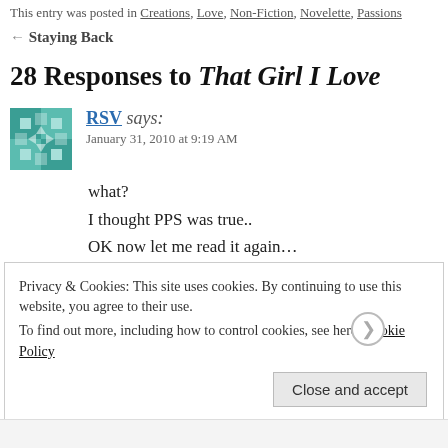This entry was posted in Creations, Love, Non-Fiction, Novelette, Passions
← Staying Back
28 Responses to That Girl I Love
RSV says: January 31, 2010 at 9:19 AM
what?
I thought PPS was true..
OK now let me read it again…
Privacy & Cookies: This site uses cookies. By continuing to use this website, you agree to their use.
To find out more, including how to control cookies, see here: Cookie Policy